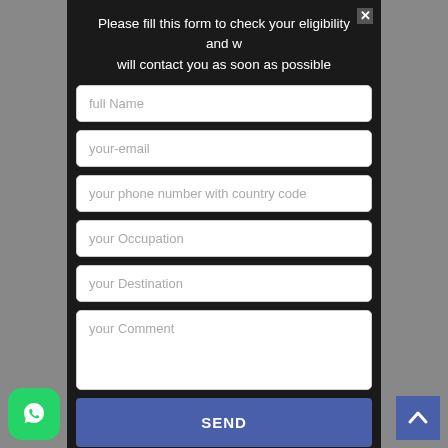Please fill this form to check your eligibility and w will contact you as soon as possible
full Name
your-email
your phone number with country code
your Occupation
your Destination
your Comment
SEND